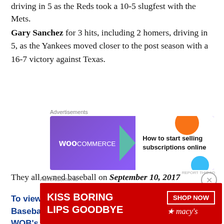driving in 5 as the Reds took a 10-5 slugfest with the Mets.
Gary Sanchez for 3 hits, including 2 homers, driving in 5, as the Yankees moved closer to the post season with a 16-7 victory against Texas.
[Figure (other): WooCommerce advertisement banner: 'How to start selling subscriptions online']
They all owned baseball on September 10, 2017
To view the Yearly Leaders for Who Owned Baseball Standings, plus see who gained 1/2 WOB's – Click the READ THE REST OF THIS ENTRY ICON OR SCROLL DOWN
[Figure (other): Macy's advertisement banner: 'KISS BORING LIPS GOODBYE — SHOP NOW']